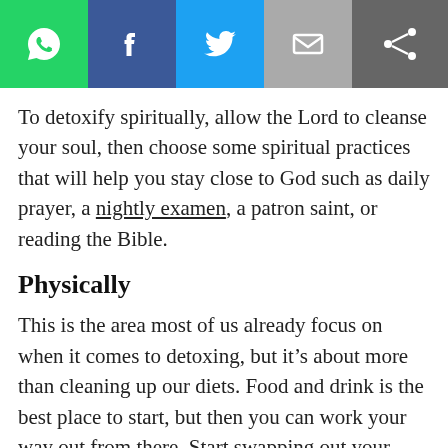[Figure (other): Social sharing toolbar with WhatsApp, Facebook, Twitter, Email, and general share buttons]
To detoxify spiritually, allow the Lord to cleanse your soul, then choose some spiritual practices that will help you stay close to God such as daily prayer, a nightly examen, a patron saint, or reading the Bible.
Physically
This is the area most of us already focus on when it comes to detoxing, but it’s about more than cleaning up our diets. Food and drink is the best place to start, but then you can work your way out from there. Start swapping out your personal care products [hair and body products, make up] for safer, cleaner options. Then start swapping out toxic household cleaners and products for safer ones. Some you can even make on your own!